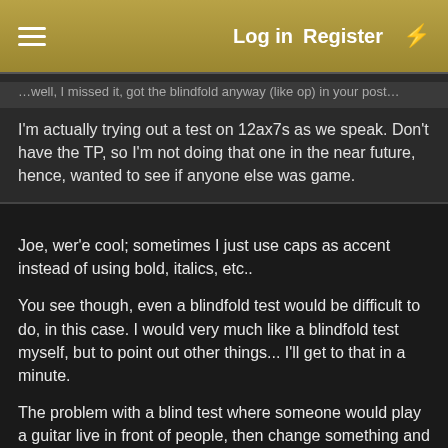Log in  Register
I'm actually trying out a test on 12ax7s as we speak. Don't have the TP, so I'm not doing that one in the near future, hence, wanted to see if anyone else was game.
Joe, wer'e cool; sometimes I just use caps as accent instead of using bold, italics, etc..
You see though, even a blindfold test would be difficult to do, in this case. I would very much like a blindfold test myself, but to point out other things... I'll get to that in a minute.
The problem with a blind test where someone would play a guitar live in front of people, then change something and repeat, is that there is time between the tests and it is a proven fact (not making this up, it's around here somewhere) that people's tonal memory is very flakey to begin with. Just about everyone has had the same guitar, amp, speakers, place, settings on day 1 sound great, only to think they sound like crap on day 2.